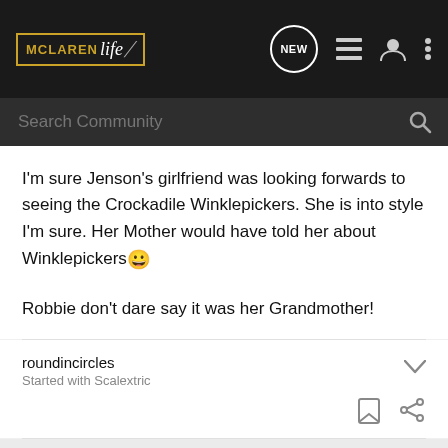[Figure (screenshot): McLaren Life community forum website header with logo, NEW button, list icon, user icon, and more options icon on dark background]
[Figure (screenshot): Search Community search bar on dark background]
I'm sure Jenson's girlfriend was looking forwards to seeing the Crockadile Winklepickers. She is into style I'm sure. Her Mother would have told her about Winklepickers😀

Robbie don't dare say it was her Grandmother!
roundincircles
Started with Scalextric